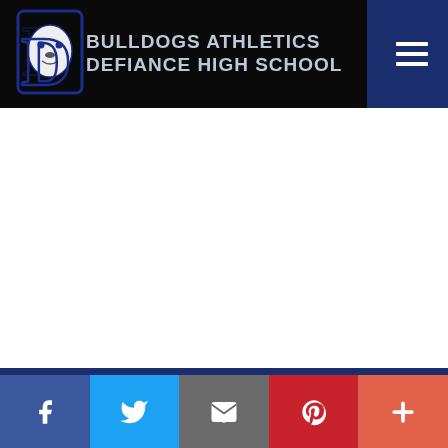BULLDOGS ATHLETICS
DEFIANCE HIGH SCHOOL
[Figure (logo): Bulldogs mascot logo with letter D and bulldog illustration, outlined in blue]
BULLDOGS ATHLETICS
Home
Administrator Login
[Figure (infographic): Social share bar with Facebook, Twitter, Email, Pinterest, and More (+) buttons]